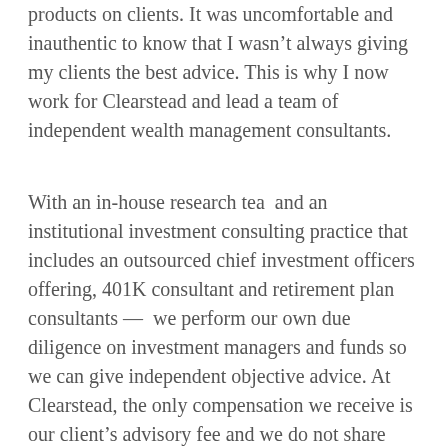products on clients. It was uncomfortable and inauthentic to know that I wasn't always giving my clients the best advice. This is why I now work for Clearstead and lead a team of independent wealth management consultants.
With an in-house research tea  and an institutional investment consulting practice that includes an outsourced chief investment officers offering, 401K consultant and retirement plan consultants —  we perform our own due diligence on investment managers and funds so we can give independent objective advice. At Clearstead, the only compensation we receive is our client's advisory fee and we do not share compensation with any investment manager or third-party product of any kind. We believe that this model will protect our clients...